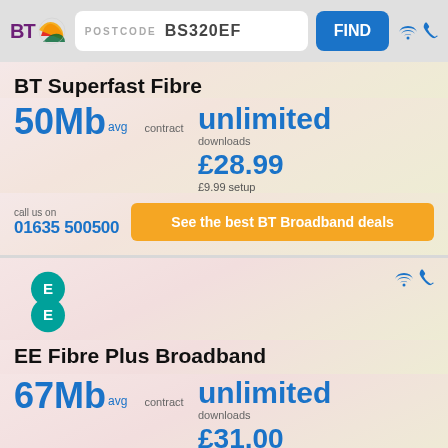POSTCODE BS320EF FIND
BT Superfast Fibre
50Mb avg  contract  unlimited downloads  £28.99  £9.99 setup
call us on 01635 500500
See the best BT Broadband deals
[Figure (logo): EE logo - two E letters stacked in teal circles]
EE Fibre Plus Broadband
67Mb avg  contract  unlimited downloads  £31.00  FREE setup